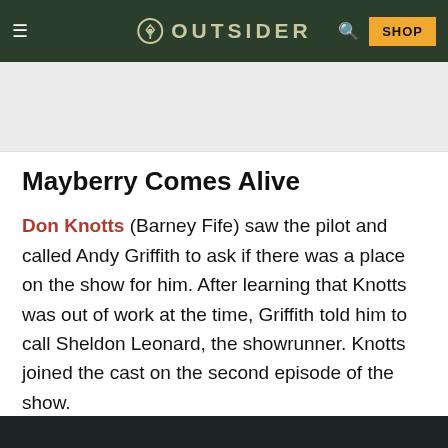≡  OUTSIDER  🔍  SHOP
[Figure (other): Light gray advertisement placeholder area]
Mayberry Comes Alive
Don Knotts (Barney Fife) saw the pilot and called Andy Griffith to ask if there was a place on the show for him. After learning that Knotts was out of work at the time, Griffith told him to call Sheldon Leonard, the showrunner. Knotts joined the cast on the second episode of the show.